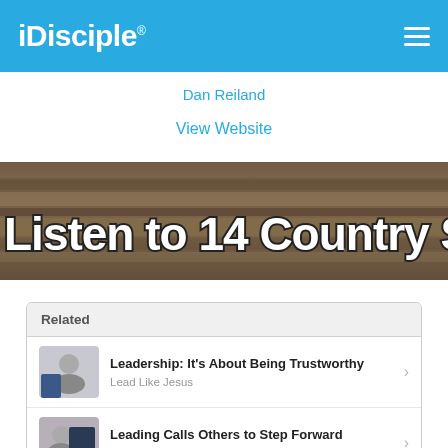iDisciple
Dan Reiland
View Website
[Figure (photo): Banner image with wooden background and text 'Listen to 14 Country Stars Rea...' in bold white outlined letters]
Related
Leadership: It's About Being Trustworthy
Lead Like Jesus
Leading Calls Others to Step Forward
Ronnie Floyd
7 Reasons Leaders Tend to Quit